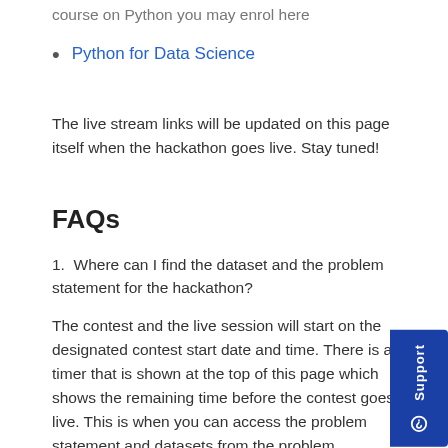course on Python you may enrol here
Python for Data Science
The live stream links will be updated on this page itself when the hackathon goes live. Stay tuned!
FAQs
1.  Where can I find the dataset and the problem statement for the hackathon?
The contest and the live session will start on the designated contest start date and time. There is a timer that is shown at the top of this page which shows the remaining time before the contest goes live. This is when you can access the problem statement and datasets from the problem statement tab and